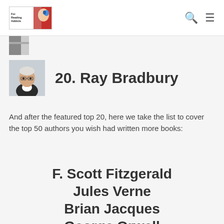For Reading Addicts — navigation header
[Figure (illustration): Partial image of book or article at top left below header]
[Figure (photo): Author photo of Ray Bradbury — elderly man in dark jacket]
20. Ray Bradbury
And after the featured top 20, here we take the list to cover the top 50 authors you wish had written more books:
F. Scott Fitzgerald
Jules Verne
Brian Jacques
George Orwell
Zoe Barnes
Farlice Child (partial)